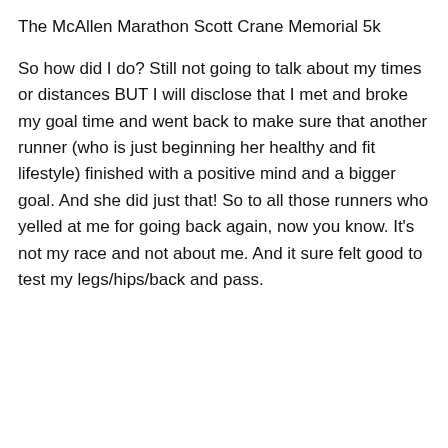The McAllen Marathon Scott Crane Memorial 5k
So how did I do? Still not going to talk about my times or distances BUT I will disclose that I met and broke my goal time and went back to make sure that another runner (who is just beginning her healthy and fit lifestyle) finished with a positive mind and a bigger goal. And she did just that! So to all those runners who yelled at me for going back again, now you know. It’s not my race and not about me. And it sure felt good to test my legs/hips/back and pass.